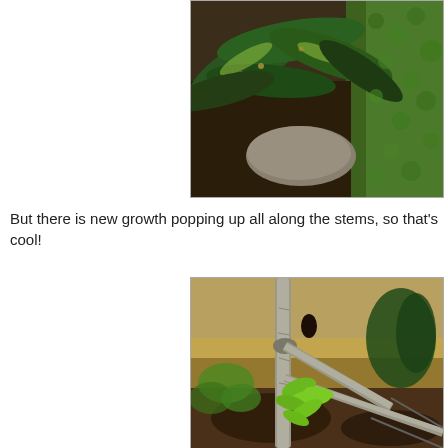[Figure (photo): Close-up photo of plant leaves with some yellowing/damage, surrounded by dark soil and green moss]
But there is new growth popping up all along the stems, so that's cool!
[Figure (photo): Photo of plant stems with new small green leaf growth emerging, brown/dead stems visible with new bright green shoots]